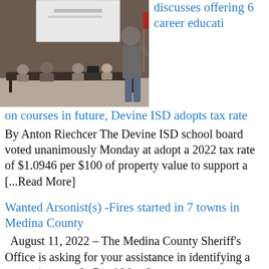[Figure (photo): A person standing and presenting at the front of a room with people seated at tables in the background, and a projection screen visible.]
discusses offering 6 career education courses in future, Devine ISD adopts tax rate
By Anton Riechcer The Devine ISD school board voted unanimously Monday at adopt a 2022 tax rate of $1.0946 per $100 of property value to support a [...Read More]
Wanted Arsonist(s) -Fires started in 7 towns in Medina County
August 11, 2022 – The Medina County Sheriff's Office is asking for your assistance in identifying a person/persons [...Read More]